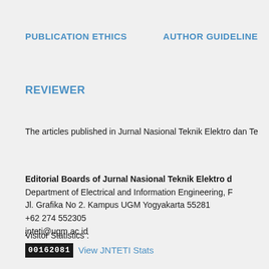PUBLICATION ETHICS    AUTHOR GUIDELINES
REVIEWER
The articles published in Jurnal Nasional Teknik Elektro dan Te
Editorial Boards of Jurnal Nasional Teknik Elektro d
Department of Electrical and Information Engineering, F
Jl. Grafika No 2. Kampus UGM Yogyakarta 55281
+62 274 552305
jnteti@ugm.ac.id
Visitor Statistics :
00162081  View JNTETI Stats